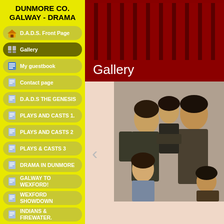DUNMORE CO. GALWAY - DRAMA
D.A.D.S. Front Page
Gallery
My guestbook
Contact page
D.A.D.S THE GENESIS
PLAYS AND CASTS 1.
PLAYS AND CASTS 2
PLAYS & CASTS 3
DRAMA IN DUNMORE
GALWAY TO WEXFORD!
WEXFORD SHOWDOWN
INDIANS & FIREWATER.
FESTIVAL 2010
The Good Father 2011
Gallery
[Figure (photo): Group photo of people in an indoor setting, vintage/retro style photograph with muted colors showing several people including men and a younger person]